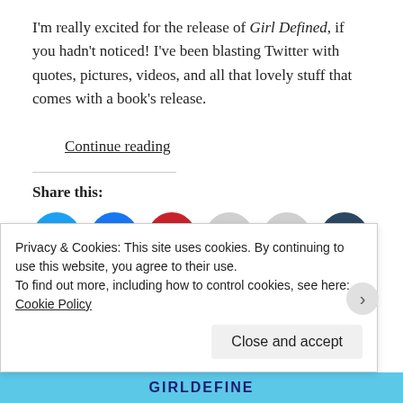I'm really excited for the release of Girl Defined, if you hadn't noticed! I've been blasting Twitter with quotes, pictures, videos, and all that lovely stuff that comes with a book's release.
Continue reading
Share this:
[Figure (infographic): Six circular social share buttons: Twitter (cyan), Facebook (blue), Pinterest (red), Email (light gray), Print (light gray), Tumblr (dark navy)]
Privacy & Cookies: This site uses cookies. By continuing to use this website, you agree to their use.
To find out more, including how to control cookies, see here: Cookie Policy